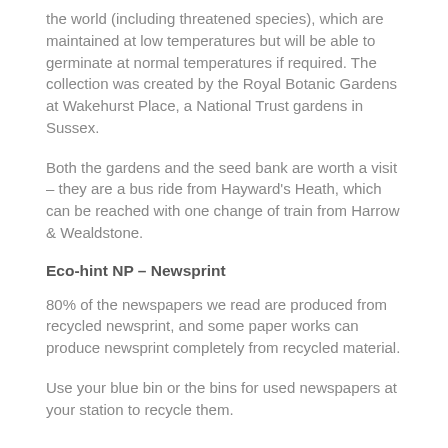the world (including threatened species), which are maintained at low temperatures but will be able to germinate at normal temperatures if required. The collection was created by the Royal Botanic Gardens at Wakehurst Place, a National Trust gardens in Sussex.
Both the gardens and the seed bank are worth a visit – they are a bus ride from Hayward's Heath, which can be reached with one change of train from Harrow & Wealdstone.
Eco-hint NP – Newsprint
80% of the newspapers we read are produced from recycled newsprint, and some paper works can produce newsprint completely from recycled material.
Use your blue bin or the bins for used newspapers at your station to recycle them.